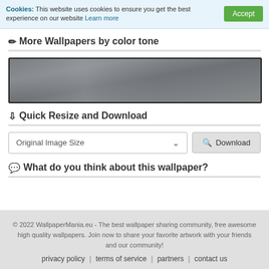Cookies: This website uses cookies to ensure you get the best experience on our website Learn more
More Wallpapers by color tone
[Figure (other): Gray color tone gradient swatch bar]
Quick Resize and Download
Original Image Size [dropdown] Download [button]
What do you think about this wallpaper?
© 2022 WallpaperMania.eu - The best wallpaper sharing community, free awesome high quality wallpapers. Join now to share your favorite artwork with your friends and our community! privacy policy | terms of service | partners | contact us